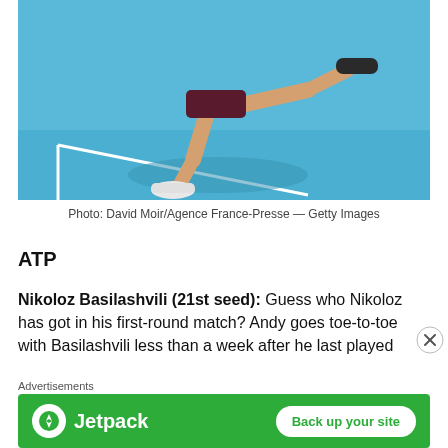[Figure (photo): Tennis player mid-leap on a bright blue hard court, wearing dark maroon shorts and white sneakers with red accents. Only the legs and lower body are visible. White court lines visible at bottom. Shadow cast on court surface.]
Photo: David Moir/Agence France-Presse — Getty Images
ATP
Nikoloz Basilashvili (21st seed): Guess who Nikoloz has got in his first-round match? Andy goes toe-to-toe with Basilashvili less than a week after he last played
[Figure (other): Jetpack advertisement banner with green background, Jetpack logo on left, and 'Back up your site' white button on right. 'Advertisements' label above.]